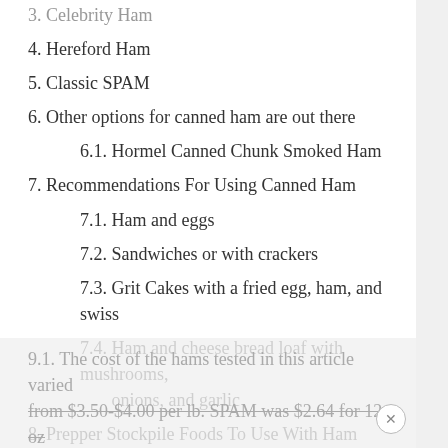3. Celebrity Ham
4. Hereford Ham
5. Classic SPAM
6. Other options for canned ham are out there
6.1. Hormel Canned Chunk Smoked Ham
7. Recommendations For Using Canned Ham
7.1. Ham and eggs
7.2. Sandwiches or with crackers
7.3. Grit Cakes with a fried egg, ham, and swiss
7.4. Ham and cheese bread loaf with mushrooms, onions, and garlic
8. Prepper Stockpile Foods To Use With Ham
9. Conclusion: Canned ham is good but salty and is just a little meatier in texture than SPAM.
9.1. The cost of the hams tested in this article varied from $3.50-$4.00 per lb. SPAM was $2.64 for 12 oz when I checked the price at Wal-Mart which is